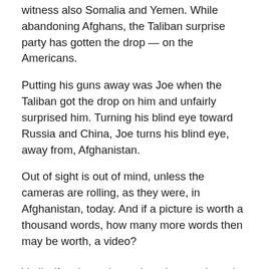witness also Somalia and Yemen. While abandoning Afghans, the Taliban surprise party has gotten the drop — on the Americans.
Putting his guns away was Joe when the Taliban got the drop on him and unfairly surprised him. Turning his blind eye toward Russia and China, Joe turns his blind eye, away from, Afghanistan.
Out of sight is out of mind, unless the cameras are rolling, as they were, in Afghanistan, today. And if a picture is worth a thousand words, how many more words then may be worth, a video?
Verily, if a picture is worth, a thousand words, how many more words may be worth, a video? It depends but this video may be, invaluable; invaluable to me may be — this airport video.